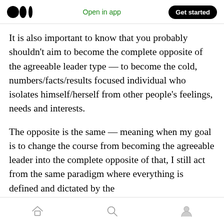Open in app | Get started
It is also important to know that you probably shouldn’t aim to become the complete opposite of the agreeable leader type — to become the cold, numbers/facts/results focused individual who isolates himself/herself from other people’s feelings, needs and interests.
The opposite is the same — meaning when my goal is to change the course from becoming the agreeable leader into the complete opposite of that, I still act from the same paradigm where everything is defined and dictated by the
Home | Search | Profile